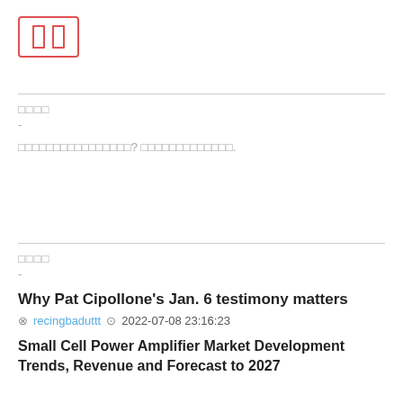[Figure (logo): Logo box with two vertical bars inside a red rounded rectangle border]
□□□□
-
□□□□□□□□□□□□□□□□? □□□□□□□□□□□□□.
□□□□
-
Why Pat Cipollone's Jan. 6 testimony matters
recingbaduttt  2022-07-08 23:16:23
Small Cell Power Amplifier Market Development Trends, Revenue and Forecast to 2027